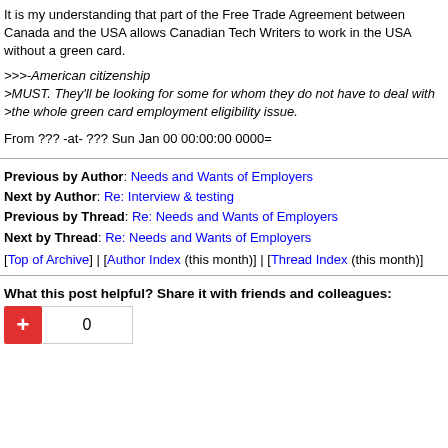It is my understanding that part of the Free Trade Agreement between Canada and the USA allows Canadian Tech Writers to work in the USA without a green card.
>>>-American citizenship
>MUST. They'll be looking for some for whom they do not have to deal with
>the whole green card employment eligibility issue.
From ??? -at- ??? Sun Jan 00 00:00:00 0000=
Previous by Author: Needs and Wants of Employers
Next by Author: Re: Interview & testing
Previous by Thread: Re: Needs and Wants of Employers
Next by Thread: Re: Needs and Wants of Employers
[Top of Archive] | [Author Index (this month)] | [Thread Index (this month)]
What this post helpful? Share it with friends and colleagues:
0